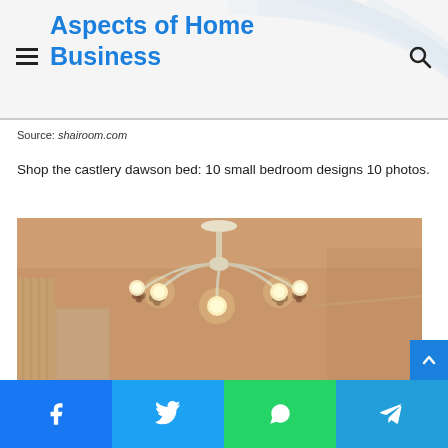Aspects of Home Business
Source: shairoom.com
Shop the castlery dawson bed: 10 small bedroom designs 10 photos.
[Figure (photo): Interior bedroom photo showing a white chandelier with decorative flower-shaped holders and multiple bulbs, hanging from a warm-toned beige ceiling, with curtains visible at left]
Social share bar: Facebook, Twitter, WhatsApp, Telegram